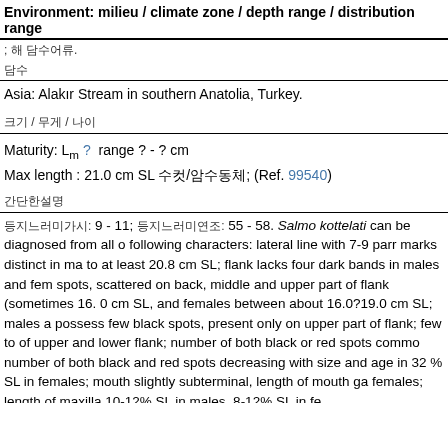Environment: milieu / climate zone / depth range / distribution range
; 해 담수어류.
담수
Asia: Alakır Stream in southern Anatolia, Turkey.
크기 / 무게 / 나이
Maturity: Lm ?  range ? - ? cm
Max length : 21.0 cm SL 수컷/암수동체; (Ref. 99540)
간단한설명
등지느러미가시: 9 - 11; 등지느러미연조: 55 - 58. Salmo kottelati can be diagnosed from all other congeners by the following characters: lateral line with 7-9 parr marks distinct in males and females up to at least 20.8 cm SL; flank lacks four dark bands in males and females; red spots, scattered on back, middle and upper part of flank (sometimes below lateral line) in 16. 0 cm SL, and females between about 16.0?19.0 cm SL; males above 16.0 cm SL possess few black spots, present only on upper part of flank; few to no red spots on middle of upper and lower flank; number of both black or red spots commonly decreasing with size; number of both black and red spots decreasing with size and age in females; head 29-32 % SL in females; mouth slightly subterminal, length of mouth gape 26-30% HL in females; length of maxilla 10-12% SL in males, 8-12% SL in females.